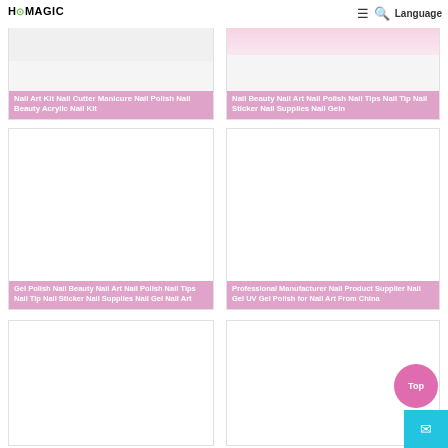HOMAGIC — Language
[Figure (screenshot): Product card top-left: nail art kit products with pink overlay text: Nail Art Kit Nail Cutter Manicure Nail Polish Nail Beauty Acrylic Nail Kit]
[Figure (screenshot): Product card top-right: nail beauty product with pink overlay text: Nail Beauty Nail Art Nail Polish Nail Tips Nail Tip Nail Sticker Nail Supplies Nail Geln]
[Figure (screenshot): Product card middle-left: white product image with pink overlay text: Gel Polish Nail Beauty Nail Art Nail Polish Nail Tips Nail Tip Nail Sticker Nail Supplies Nail Gel Nail Art]
[Figure (screenshot): Product card middle-right: white product image with pink overlay text: Professional Manufacturer Nail Product Supplier Nail Gel UV Gel Polish for Nail Art From China]
[Figure (screenshot): Product card bottom-left: white product image, no overlay visible]
[Figure (screenshot): Product card bottom-right: white product image with Top button and mail button overlaid]
Top
✉